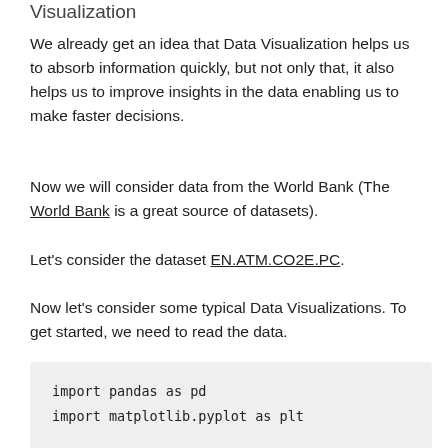Visualization
We already get an idea that Data Visualization helps us to absorb information quickly, but not only that, it also helps us to improve insights in the data enabling us to make faster decisions.
Now we will consider data from the World Bank (The World Bank is a great source of datasets).
Let's consider the dataset EN.ATM.CO2E.PC.
Now let's consider some typical Data Visualizations. To get started, we need to read the data.
import pandas as pd
import matplotlib.pyplot as plt

data = pd.read_csv('https://raw.githubuse